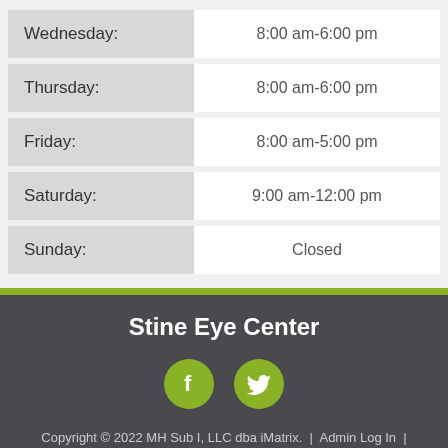| Day | Hours |
| --- | --- |
| Wednesday: | 8:00 am-6:00 pm |
| Thursday: | 8:00 am-6:00 pm |
| Friday: | 8:00 am-5:00 pm |
| Saturday: | 9:00 am-12:00 pm |
| Sunday: | Closed |
Stine Eye Center
[Figure (logo): Facebook icon - green circle with white F]
[Figure (logo): Twitter icon - green circle with white bird]
Copyright © 2022 MH Sub I, LLC dba iMatrix. | Admin Log In | Site Map